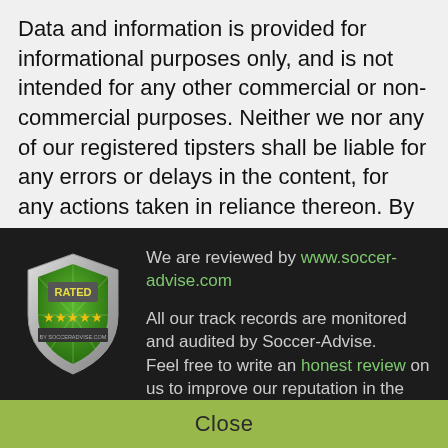Data and information is provided for informational purposes only, and is not intended for any other commercial or non-commercial purposes. Neither we nor any of our registered tipsters shall be liable for any errors or delays in the content, for any actions taken in reliance thereon. By accessing our website, a user agrees
[Figure (logo): Soccer-Advise.com rated badge with shield shape, green interior, gold stars, and text 'RATED BY SOCCERADVISE.COM']
We are reviewed by www.soccer-advise.com

All our track records are monitored and audited by Soccer-Advise.
Feel free to write an honest review on us to improve our reputation in the community.
Close